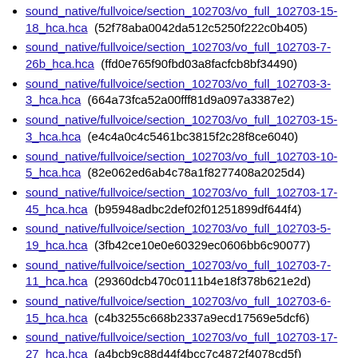sound_native/fullvoice/section_102703/vo_full_102703-15-18_hca.hca (52f78aba0042da512c5250f222c0b405)
sound_native/fullvoice/section_102703/vo_full_102703-7-26b_hca.hca (ffd0e765f90fbd03a8facfcb8bf34490)
sound_native/fullvoice/section_102703/vo_full_102703-3-3_hca.hca (664a73fca52a00fff81d9a097a3387e2)
sound_native/fullvoice/section_102703/vo_full_102703-15-3_hca.hca (e4c4a0c4c5461bc3815f2c28f8ce6040)
sound_native/fullvoice/section_102703/vo_full_102703-10-5_hca.hca (82e062ed6ab4c78a1f8277408a2025d4)
sound_native/fullvoice/section_102703/vo_full_102703-17-45_hca.hca (b95948adbc2def02f01251899df644f4)
sound_native/fullvoice/section_102703/vo_full_102703-5-19_hca.hca (3fb42ce10e0e60329ec0606bb6c90077)
sound_native/fullvoice/section_102703/vo_full_102703-7-11_hca.hca (29360dcb470c0111b4e18f378b621e2d)
sound_native/fullvoice/section_102703/vo_full_102703-6-15_hca.hca (c4b3255c668b2337a9ecd17569e5dcf6)
sound_native/fullvoice/section_102703/vo_full_102703-17-27_hca.hca (a4bcb9c88d44f4bcc7c4872f4078cd5f)
sound_native/fullvoice/section_102703/vo_full_102703-12-48_hca.hca (e27bcaaee81b3d82b90ba93a3e367f05)
sound_native/fullvoice/section_102703/vo_full_102703-15-50_hca.hca (5b0f352c63f3609141458ecb02a67bcd)
sound_native/fullvoice/section_102703/vo_full_102703-10-...